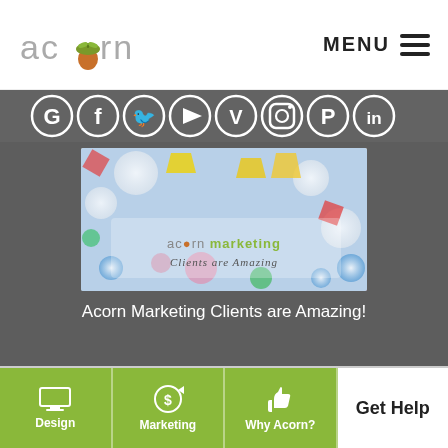[Figure (logo): Acorn marketing logo with acorn icon replacing the 'o' in acorn, in grey text]
MENU ≡
[Figure (infographic): Social media icons row: Google, Facebook, Twitter, YouTube, Vimeo, Instagram, Pinterest, LinkedIn — white icons on dark grey background]
[Figure (photo): Photo of colorful gemstones and pearls with Acorn Marketing branding overlay and text 'Clients are Amazing']
Acorn Marketing Clients are Amazing!
[Figure (infographic): Bottom navigation bar with three green buttons: Design (monitor icon), Marketing (dollar/megaphone icon), Why Acorn? (thumbs up icon), and Get Help button on white background]